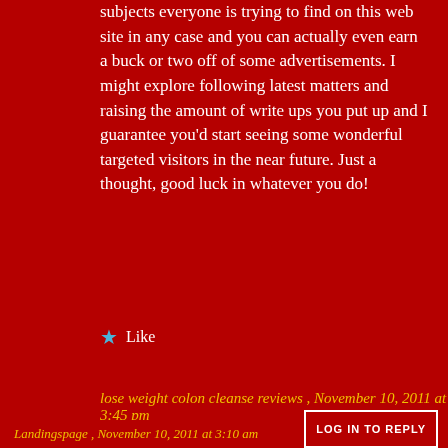subjects everyone is trying to find on this web site in any case and you can actually even earn a buck or two off of some advertisements. I might explore following latest matters and raising the amount of write ups you put up and I guarantee you'd start seeing some wonderful targeted visitors in the near future. Just a thought, good luck in whatever you do!
★ Like
lose weight colon cleanse reviews , November 10, 2011 at 3:45 pm
LOG IN TO REPLY
Privacy & Cookies: This site uses cookies. By continuing to use this website, you agree to their use.
To find out more, including how to control cookies, see here: Cookie Policy
Close and accept
Landingspage , November 10, 2011 at 3:10 am
LOG IN TO REPLY